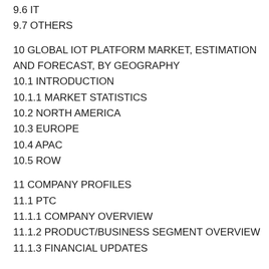9.6 IT
9.7 OTHERS
10 GLOBAL IOT PLATFORM MARKET, ESTIMATION AND FORECAST, BY GEOGRAPHY
10.1 INTRODUCTION
10.1.1 MARKET STATISTICS
10.2 NORTH AMERICA
10.3 EUROPE
10.4 APAC
10.5 ROW
11 COMPANY PROFILES
11.1 PTC
11.1.1 COMPANY OVERVIEW
11.1.2 PRODUCT/BUSINESS SEGMENT OVERVIEW
11.1.3 FINANCIAL UPDATES